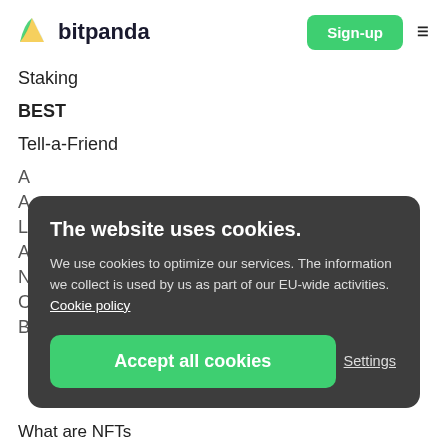bitpanda | Sign-up
Staking
BEST
Tell-a-Friend
The website uses cookies. We use cookies to optimize our services. The information we collect is used by us as part of our EU-wide activities. Cookie policy
Accept all cookies | Settings
What are NFTs